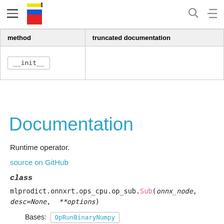Navigation header with logo, search, and TOC icons
| method | truncated documentation |
| --- | --- |
| __init__ |  |
Documentation
Runtime operator.
source on GitHub
class mlprodict.onnxrt.ops_cpu.op_sub.Sub(onnx_node, desc=None, **options)
Bases: OpRunBinaryNumpy